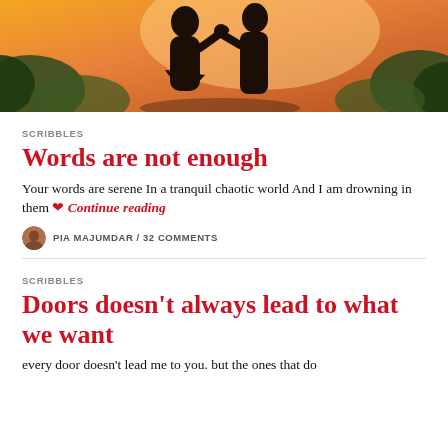[Figure (photo): Two people holding hands outdoors at golden hour sunset, warm orange light, foliage in background]
SCRIBBLES
Words are not enough
Your words are serene In a tranquil chaotic world And I am drowning in them ❤ Continue reading
PIA MAJUMDAR / 32 COMMENTS
SCRIBBLES
Doors doesn't always lead to what we want
every door doesn't lead me to you. but the ones that do